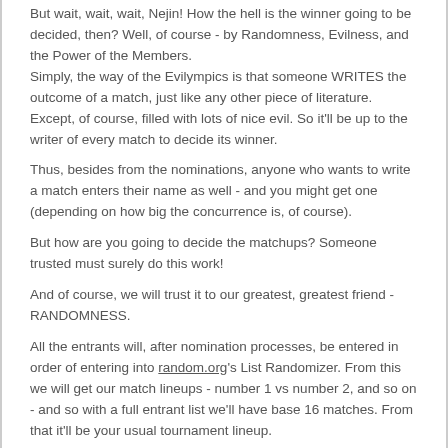But wait, wait, wait, Nejin! How the hell is the winner going to be decided, then? Well, of course - by Randomness, Evilness, and the Power of the Members.
Simply, the way of the Evilympics is that someone WRITES the outcome of a match, just like any other piece of literature. Except, of course, filled with lots of nice evil. So it'll be up to the writer of every match to decide its winner.
Thus, besides from the nominations, anyone who wants to write a match enters their name as well - and you might get one (depending on how big the concurrence is, of course).
But how are you going to decide the matchups? Someone trusted must surely do this work!
And of course, we will trust it to our greatest, greatest friend - RANDOMNESS.
All the entrants will, after nomination processes, be entered in order of entering into random.org's List Randomizer. From this we will get our match lineups - number 1 vs number 2, and so on - and so with a full entrant list we'll have base 16 matches. From that it'll be your usual tournament lineup.